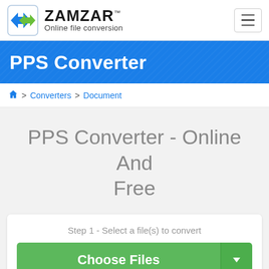[Figure (logo): Zamzar logo with double-arrow icon and text 'ZAMZAR Online file conversion']
PPS Converter
Home > Converters > Document
PPS Converter - Online And Free
Step 1 - Select a file(s) to convert
Choose Files